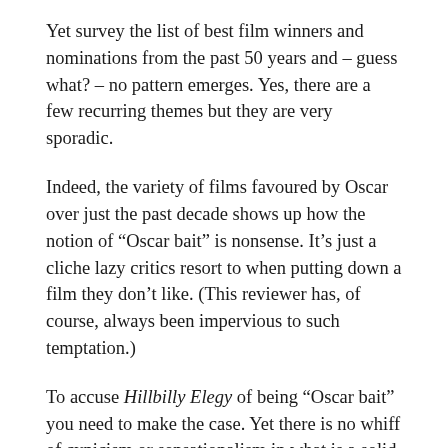Yet survey the list of best film winners and nominations from the past 50 years and – guess what? – no pattern emerges. Yes, there are a few recurring themes but they are very sporadic.
Indeed, the variety of films favoured by Oscar over just the past decade shows up how the notion of “Oscar bait” is nonsense. It’s just a cliche lazy critics resort to when putting down a film they don’t like. (This reviewer has, of course, always been impervious to such temptation.)
To accuse Hillbilly Elegy of being “Oscar bait” you need to make the case. Yet there is no whiff of cynicism or sensationalism in what is a solid, fact-based domestic drama about poor people from the hills.
Whatever Oscar attention the film draws it won’t be due to Ron Howard applying a narrative template designed to tell anything other than an engaging, worthwhile story with homespun